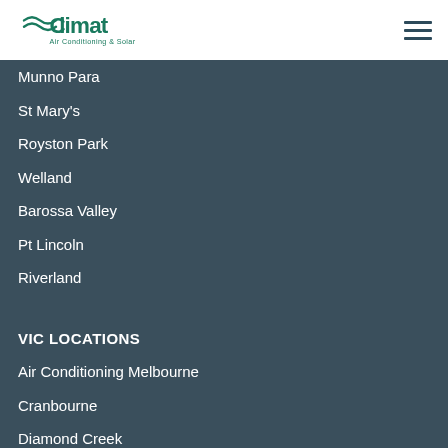Climat Air Conditioning & Solar
Munno Para
St Mary's
Royston Park
Welland
Barossa Valley
Pt Lincoln
Riverland
VIC LOCATIONS
Air Conditioning Melbourne
Cranbourne
Diamond Creek
Melton
Pakenham